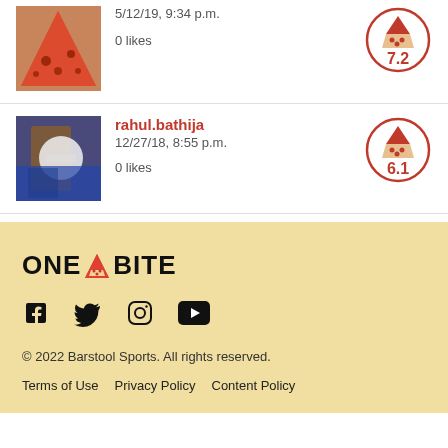[Figure (photo): Pizza slice photo thumbnail, partial view at top]
5/12/19, 9:34 p.m.
0 likes
[Figure (other): Score circle with pizza icon showing 7.2]
[Figure (photo): Person tossing pizza dough photo thumbnail]
rahul.bathija
12/27/18, 8:55 p.m.
0 likes
[Figure (other): Score circle with pizza icon showing 6.1]
[Figure (logo): One Bite logo with pizza slice icon]
[Figure (other): Social media icons: Facebook, Twitter, Instagram, YouTube]
© 2022 Barstool Sports. All rights reserved.
Terms of Use    Privacy Policy    Content Policy